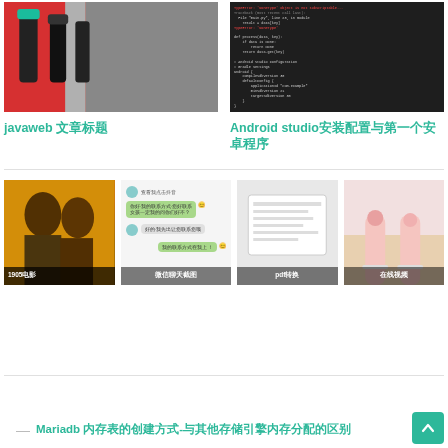[Figure (photo): Gas station fuel nozzles, red and black, close-up photo]
[Figure (screenshot): Android Studio IDE code editor screenshot with dark theme]
javaweb 文章标题
Android studio安装配置与第一个安卓程序
[Figure (photo): 1905电影网 - movie poster with two actors, yellow/red tones]
[Figure (screenshot): 微信聊天截图 - chat messages with green bubbles]
[Figure (other): pdf转换 - gray placeholder]
[Figure (photo): 在线视频 - fashion/legs photo]
Mariadb 内存表的创建方式-与其他存储引擎内存分配的区别